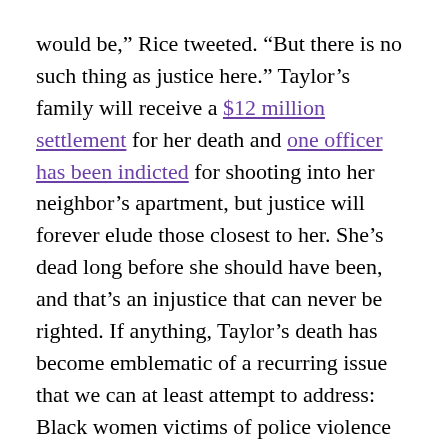would be,” Rice tweeted. “But there is no such thing as justice here.” Taylor’s family will receive a $12 million settlement for her death and one officer has been indicted for shooting into her neighbor’s apartment, but justice will forever elude those closest to her. She’s dead long before she should have been, and that’s an injustice that can never be righted. If anything, Taylor’s death has become emblematic of a recurring issue that we can at least attempt to address: Black women victims of police violence who, in death, are treated as if they’re disposable, their names evoked only to sell magazines and increase social-media engagement.
On May 26, the afternoon 46-year-old George Floyd’s life ended under the knee of Minneapolis police officer Derek Chauvin, less than 100 people showed up to honor Taylor’s life at a rally in Louisville. But